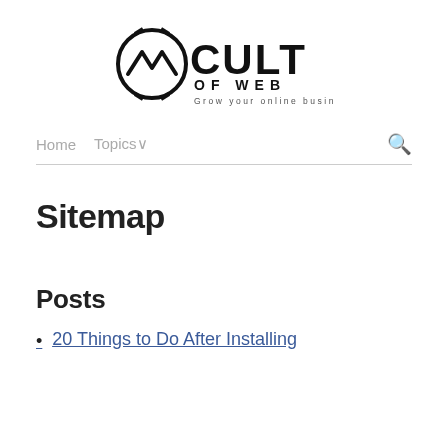[Figure (logo): Cult of Web logo — circular icon with a chevron/mountain shape inside, next to text 'CULT OF WEB' and tagline 'Grow your online business']
Home  Topics∨
Sitemap
Posts
20 Things to Do After Installing